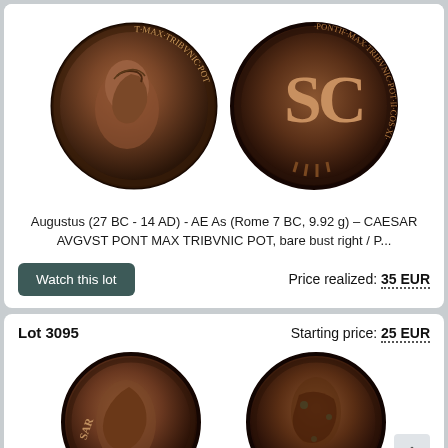[Figure (photo): Two Roman bronze coins side by side: left coin shows portrait bust facing right with legend around rim; right coin shows SC monogram with legend around rim]
Augustus (27 BC - 14 AD) - AE As (Rome 7 BC, 9.92 g) – CAESAR AVGVST PONT MAX TRIBVNIC POT, bare bust right / P...
Watch this lot
Price realized: 35 EUR
Lot 3095
Starting price: 25 EUR
[Figure (photo): Two Roman bronze coins side by side: left coin shows bust portrait, right coin shows reverse design with figure]